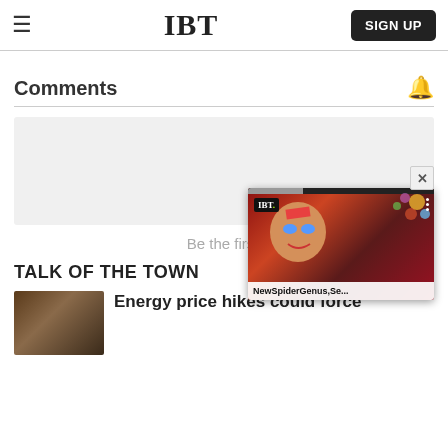IBT   SIGN UP
Comments
[Figure (screenshot): Empty comment input box with light gray background]
Be the first to
TALK OF THE TOWN
[Figure (photo): Bar interior photo thumbnail]
Energy price hikes could force
[Figure (screenshot): IBT video overlay showing David Bowie artwork with title NewSpiderGenus,Se...]